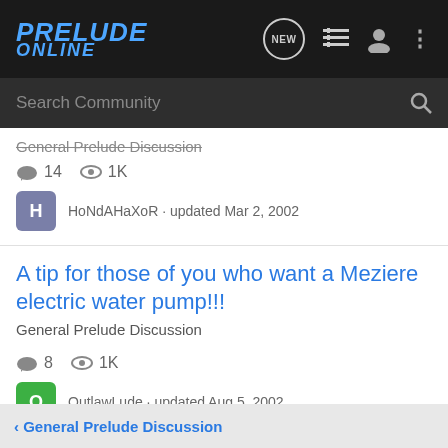PRELUDE ONLINE
Search Community
General Prelude Discussion
14  1K
HoNdAHaXoR · updated Mar 2, 2002
A tip for those of you who want a Meziere electric water pump!!!
General Prelude Discussion
8  1K
OutlawLude · updated Aug 5, 2002
< General Prelude Discussion